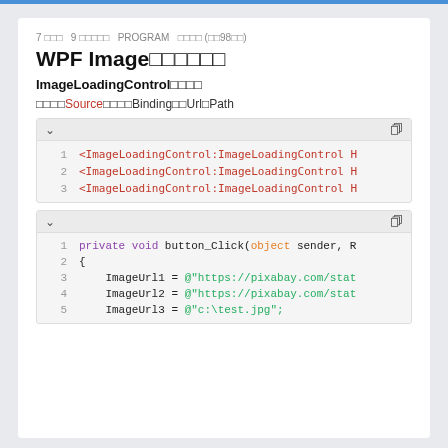7 □□□  9 □□□□□  PROGRAM  □□□□ (□□98□□)
WPF Image□□□□□□
ImageLoadingControl□□□□
□□□□Source□□□□Binding□□Url□Path
[Figure (screenshot): Code block showing XAML with 3 lines of <ImageLoadingControl:ImageLoadingControl H... repeated]
[Figure (screenshot): Code block showing C# with private void button_Click(object sender, R), {, ImageUrl1 = @"https://pixabay.com/stat, ImageUrl2 = @"https://pixabay.com/stat, ImageUrl3 = @"c:\test.jpg";]